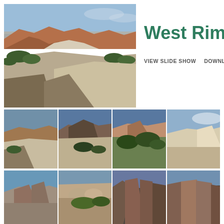[Figure (photo): Large panoramic photo of Zion National Park West Rim – red rock formations, canyon landscapes with white rock slickrock and green vegetation under blue sky]
West Rim –
VIEW SLIDE SHOW   DOWNLOAD
[Figure (photo): Thumbnail photo 1: canyon landscape with white rock formations and valley below]
[Figure (photo): Thumbnail photo 2: canyon vista with dark mesa and blue sky]
[Figure (photo): Thumbnail photo 3: canyon with trees and red and white rock formations]
[Figure (photo): Thumbnail photo 4: white rock arch or cliff with blue sky and clouds]
[Figure (photo): Thumbnail photo 5: wide canyon view with flat-topped rock formations]
[Figure (photo): Thumbnail photo 6: close-up of red and beige rock face with vegetation]
[Figure (photo): Thumbnail photo 7: deep canyon with vertical red rock walls]
[Figure (photo): Thumbnail photo 8: tall vertical cliff face, canyon walls]